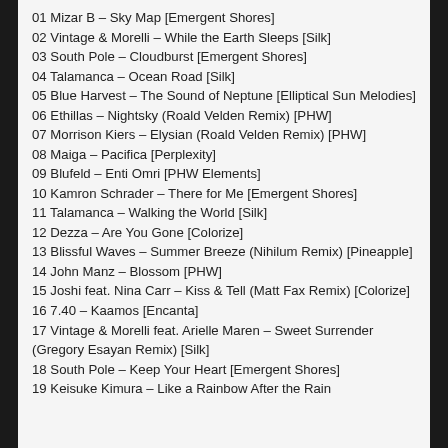01 Mizar B – Sky Map [Emergent Shores]
02 Vintage & Morelli – While the Earth Sleeps [Silk]
03 South Pole – Cloudburst [Emergent Shores]
04 Talamanca – Ocean Road [Silk]
05 Blue Harvest – The Sound of Neptune [Elliptical Sun Melodies]
06 Ethillas – Nightsky (Roald Velden Remix) [PHW]
07 Morrison Kiers – Elysian (Roald Velden Remix) [PHW]
08 Maiga – Pacifica [Perplexity]
09 Blufeld – Enti Omri [PHW Elements]
10 Kamron Schrader – There for Me [Emergent Shores]
11 Talamanca – Walking the World [Silk]
12 Dezza – Are You Gone [Colorize]
13 Blissful Waves – Summer Breeze (Nihilum Remix) [Pineapple]
14 John Manz – Blossom [PHW]
15 Joshi feat. Nina Carr – Kiss & Tell (Matt Fax Remix) [Colorize]
16 7.40 – Kaamos [Encanta]
17 Vintage & Morelli feat. Arielle Maren – Sweet Surrender (Gregory Esayan Remix) [Silk]
18 South Pole – Keep Your Heart [Emergent Shores]
19 Keisuke Kimura – Like a Rainbow After the Rain